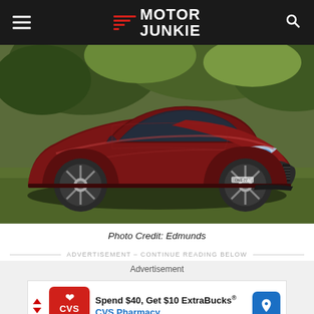Motor Junkie
[Figure (photo): A dark red/maroon Aston Martin One-77 supercar parked on a grass lawn with trees in the background, shot from a front three-quarter angle. The car's badge reads ONE-77.]
Photo Credit: Edmunds
ADVERTISEMENT - CONTINUE READING BELOW
Advertisement
[Figure (screenshot): CVS Pharmacy advertisement banner: 'Spend $40, Get $10 ExtraBucks® CVS Pharmacy']